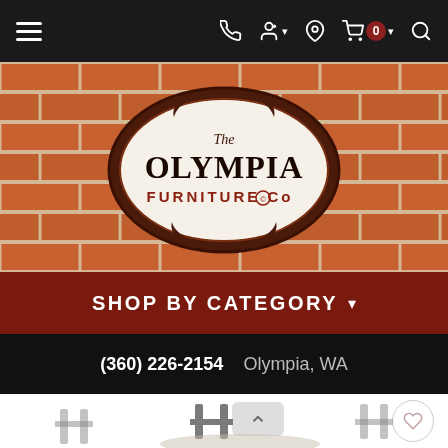Navigation bar with hamburger menu, phone icon, user icon with dropdown, location pin, cart with 0 items, and search icon
[Figure (photo): Brick wall background with The Olympia Furniture Co logo centered, ornate oval frame design with dark brown decorative border]
SHOP BY CATEGORY
(360) 226-2154   Olympia, WA
[Figure (photo): Partial view of dining room furniture including chairs and table on white background, with a scroll-to-top button and heart/wishlist button]